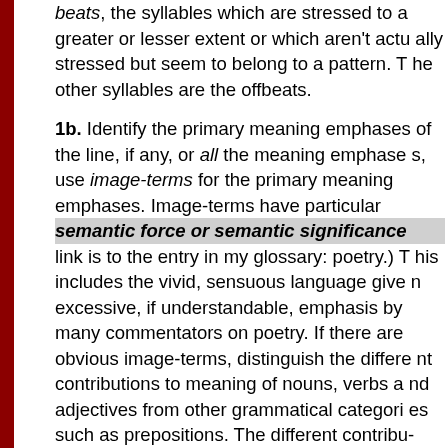beats, the syllables which are stressed to a greater or lesser extent or which aren't actually stressed but seem to belong to a pattern. The other syllables are the offbeats.
1b. Identify the primary meaning emphases of the line, if any, or all the meaning emphases, use image-terms for the primary meaning emphases. Image-terms have particular semantic force or semantic significance (the link is to the entry in my glossary: poetry.) This includes the vivid, sensuous language given excessive, if understandable, emphasis by many commentators on poetry. If there are obvious image-terms, distinguish the different contributions to meaning of nouns, verbs and adjectives from other grammatical categories such as prepositions. The different contributions are usually very distinctive, but allow for the fact that prepositions, for example, can have semantic force, as in this line from my poem Sailing from Belfast, at the time of the Troubles.
I climb up and down unstable stairs.